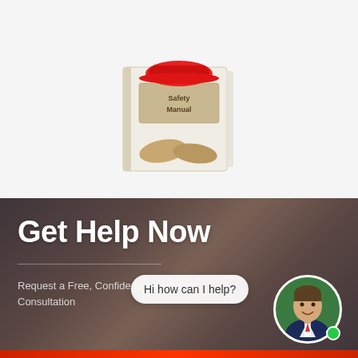[Figure (illustration): A safety manual book with a red hard hat on top and work gloves beside it, displayed on a white background]
Get Help Now
Request a Free, Confidential No-obligation Consultation
[Figure (illustration): Chat bubble saying 'Hi how can I help?' with a circular avatar photo of a smiling male consultant in a suit, with a green online indicator dot]